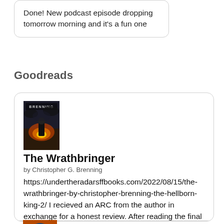Done!  New podcast episode dropping tomorrow morning and it's a fun one
Goodreads
[Figure (illustration): Book cover for The Wrathbringer by Christopher G. Brenning with dark fantasy artwork and text 'BRENNING' at top]
The Wrathbringer
by Christopher G. Brenning
https://undertheradarsffbooks.com/2022/08/15/the-wrathbringer-by-christopher-brenning-the-hellborn-king-2/ I recieved an ARC from the author in exchange for a honest review. After reading the final page of the Hellborn King last year, I...
[Figure (illustration): Partial book cover thumbnail visible at bottom, showing colorful fantasy artwork with orange and blue tones]